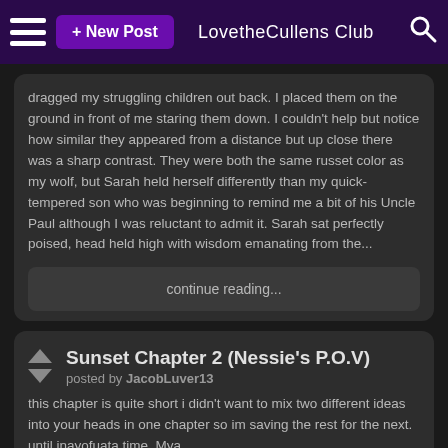+ New Post   LovetheCullens Club
dragged my struggling children out back. I placed them on the ground in front of me staring them down. I couldn't help but notice how similar they appeared from a distance but up close there was a sharp contrast. They were both the same russet color as my wolf, but Sarah held herself differently than my quick-tempered son who was beginning to remind me a bit of his Uncle Paul although I was reluctant to admit it. Sarah sat perfectly poised, head held high with wisdom emanating from the...
continue reading...
Sunset Chapter 2 (Nessie's P.O.V)
posted by JacobLuver13
this chapter is quite short i didn't want to mix two different ideas into your heads in one chapter so im saving the rest for the next.
until inayofuata time, Mya